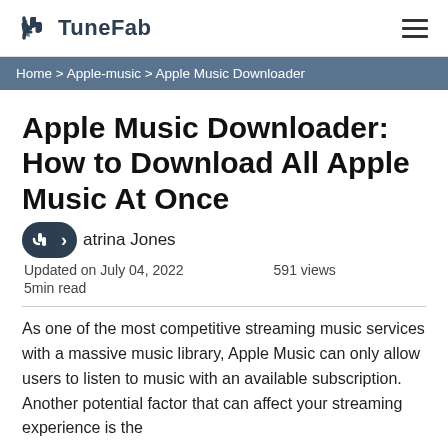TuneFab
Home > Apple-music > Apple Music Downloader
Apple Music Downloader: How to Download All Apple Music At Once
Katrina Jones
Updated on July 04, 2022    591 views
5min read
As one of the most competitive streaming music services with a massive music library, Apple Music can only allow users to listen to music with an available subscription. Another potential factor that can affect your streaming experience is the